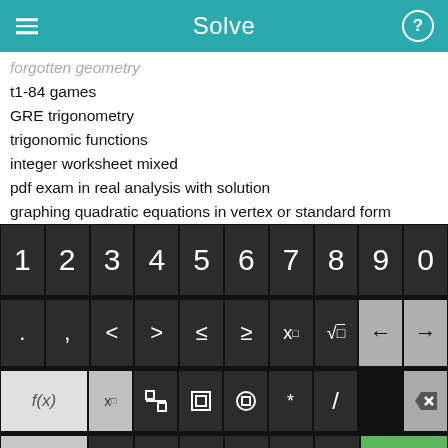Solve
forgotten geometry (partial)
t1-84 games
GRE trigonometry
trigonomic functions
integer worksheet mixed
pdf exam in real analysis with solution
graphing quadratic equations in vertex or standard form
11 plus exam practice papers free downloads sample papers free
apti and puzzles free download
adding and subtracting negative numbers+free worksheets (partial)
[Figure (screenshot): Mobile calculator keyboard with number row (1-0), symbol row (. , < > ≤ ≥ x□ √□ ← →), function row (f(x) x□ fraction absolute-value parentheses * / delete), and bottom row (abc ↺ x y = + − Solve!)]